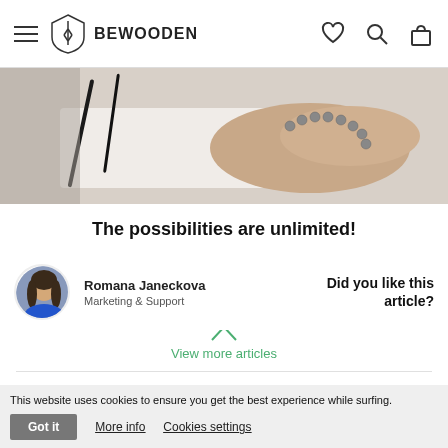BEWOODEN
[Figure (photo): Close-up photo of a hand wearing a beaded bracelet, with a dark cord/strap visible on the left side of the frame.]
The possibilities are unlimited!
I want to see all BeWooden products
View more articles
Romana Janeckova
Marketing & Support
Did you like this article?
This website uses cookies to ensure you get the best experience while surfing.
Got it   More info   Cookies settings